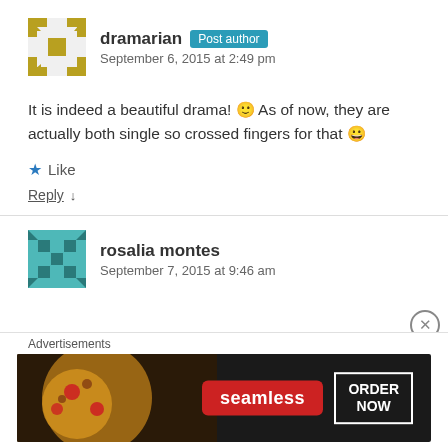dramarian — Post author — September 6, 2015 at 2:49 pm
It is indeed a beautiful drama! 🙂 As of now, they are actually both single so crossed fingers for that 😀
Like
Reply ↓
rosalia montes — September 7, 2015 at 9:46 am
Advertisements
[Figure (screenshot): Seamless food delivery advertisement banner with pizza image on the left, Seamless logo in red center, and ORDER NOW button on the right]